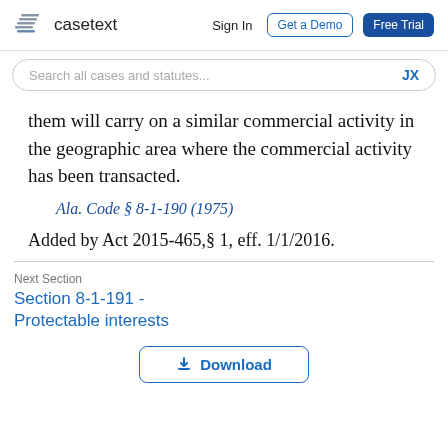casetext  Sign In  Get a Demo  Free Trial
them will carry on a similar commercial activity in the geographic area where the commercial activity has been transacted.
Ala. Code § 8-1-190 (1975)
Added by Act 2015-465,§ 1, eff. 1/1/2016.
Next Section
Section 8-1-191 -
Protectable interests